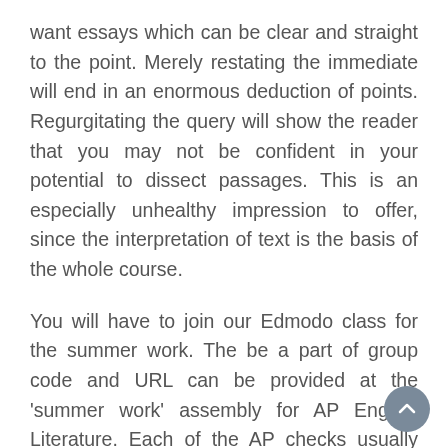want essays which can be clear and straight to the point. Merely restating the immediate will end in an enormous deduction of points. Regurgitating the query will show the reader that you may not be confident in your potential to dissect passages. This is an especially unhealthy impression to offer, since the interpretation of text is the basis of the whole course.
You will have to join our Edmodo class for the summer work. The be a part of group code and URL can be provided at the 'summer work' assembly for AP English Literature. Each of the AP checks usually embrace vocabulary in the multiple-selection part, and it is at all times vital